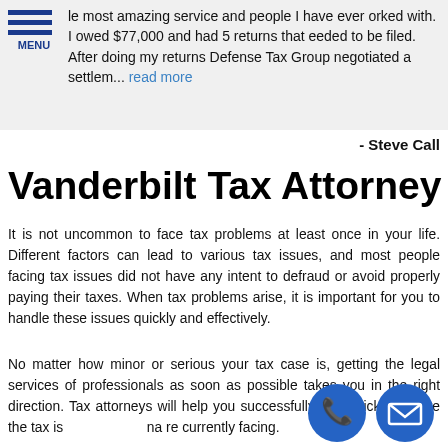le most amazing service and people I have ever orked with. I owed $77,000 and had 5 returns that eeded to be filed. After doing my returns Defense Tax Group negotiated a settlem... read more
- Steve Call
Vanderbilt Tax Attorney
It is not uncommon to face tax problems at least once in your life. Different factors can lead to various tax issues, and most people facing tax issues did not have any intent to defraud or avoid properly paying their taxes. When tax problems arise, it is important for you to handle these issues quickly and effectively.
No matter how minor or serious your tax case is, getting the legal services of professionals as soon as possible takes you in the right direction. Tax attorneys will help you successfully and quickly resolve the tax issues that are currently facing.
[Figure (other): Phone call icon - blue circle with white phone handset symbol]
[Figure (other): Email icon - blue circle with white envelope symbol]